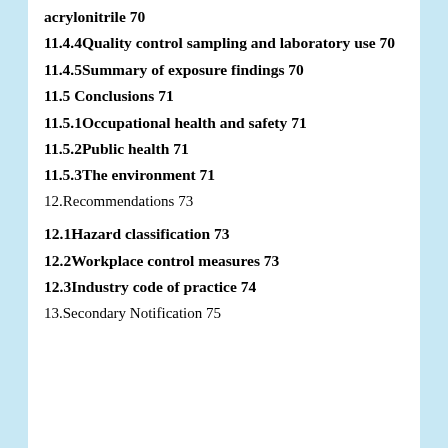acrylonitrile 70
11.4.4Quality control sampling and laboratory use 70
11.4.5Summary of exposure findings 70
11.5 Conclusions 71
11.5.1Occupational health and safety 71
11.5.2Public health 71
11.5.3The environment 71
12.Recommendations 73
12.1Hazard classification 73
12.2Workplace control measures 73
12.3Industry code of practice 74
13.Secondary Notification 75